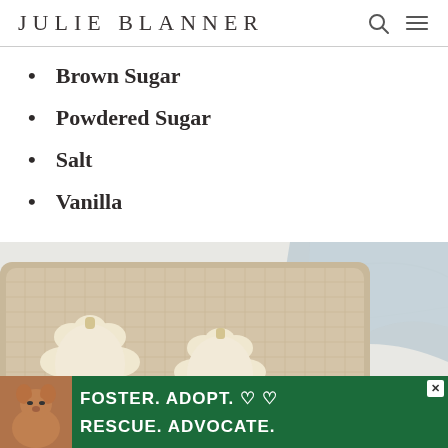JULIE BLANNER
Brown Sugar
Powdered Sugar
Salt
Vanilla
[Figure (photo): Top-down view of unbaked flower/pumpkin-shaped sugar cookies on a tan baking sheet, with a light blue cloth in the background on a white marble surface. A circular magnify button is in the lower right corner.]
[Figure (photo): Advertisement banner: teal/green background with a dog photo on left, text reading FOSTER. ADOPT. RESCUE. ADVOCATE. with heart icons, and a close button.]